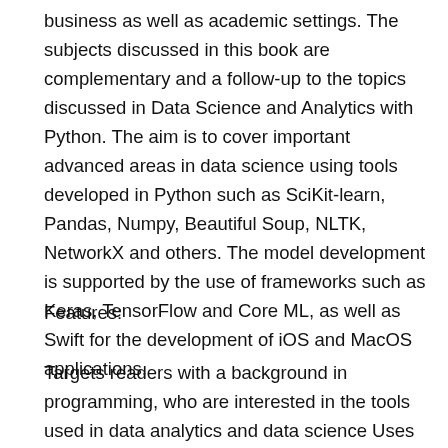business as well as academic settings. The subjects discussed in this book are complementary and a follow-up to the topics discussed in Data Science and Analytics with Python. The aim is to cover important advanced areas in data science using tools developed in Python such as SciKit-learn, Pandas, Numpy, Beautiful Soup, NLTK, NetworkX and others. The model development is supported by the use of frameworks such as Keras, TensorFlow and Core ML, as well as Swift for the development of iOS and MacOS applications.
Features:
Targets readers with a background in programming, who are interested in the tools used in data analytics and data science Uses Python throughout Presents tools, alongside solved examples, with steps that the reader can easily reproduce and adapt to their needs Focuses on the practical use of the tools rather than on